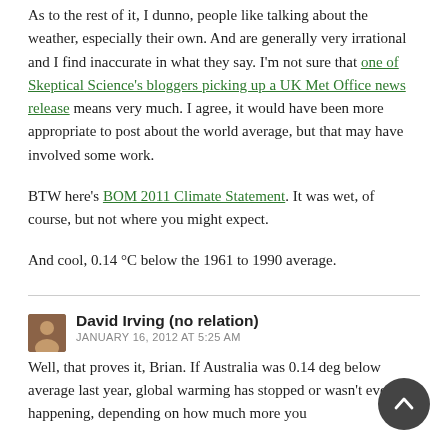As to the rest of it, I dunno, people like talking about the weather, especially their own. And are generally very irrational and I find inaccurate in what they say. I'm not sure that one of Skeptical Science's bloggers picking up a UK Met Office news release means very much. I agree, it would have been more appropriate to post about the world average, but that may have involved some work.
BTW here's BOM 2011 Climate Statement. It was wet, of course, but not where you might expect.
And cool, 0.14 °C below the 1961 to 1990 average.
David Irving (no relation)
JANUARY 16, 2012 AT 5:25 AM
Well, that proves it, Brian. If Australia was 0.14 deg below average last year, global warming has stopped or wasn't ever happening, depending on how much more you